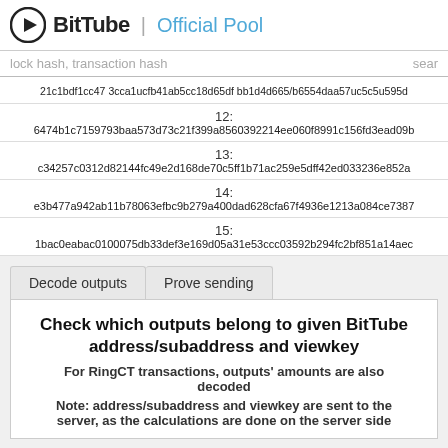BitTube | Official Pool
lock hash, transaction hash  sear
21c1bdf1cc47 3cca1ucfb41ab5cc18d65df bb1d4d665/b6554daa57uc5c5u595d
12:
6474b1c7159793baa573d73c21f399a8560392214ee060f8991c156fd3ead09b
13:
c34257c0312d82144fc49e2d168de70c5ff1b71ac259e5dff42ed033236e852a
14:
e3b477a942ab11b78063efbc9b279a400dad628cfa67f4936e1213a084ce7387
15:
1bac0eabac0100075db33def3e169d05a31e53ccc03592b294fc2bf851a14aec
Decode outputs | Prove sending
Check which outputs belong to given BitTube address/subaddress and viewkey
For RingCT transactions, outputs' amounts are also decoded
Note: address/subaddress and viewkey are sent to the server, as the calculations are done on the server side